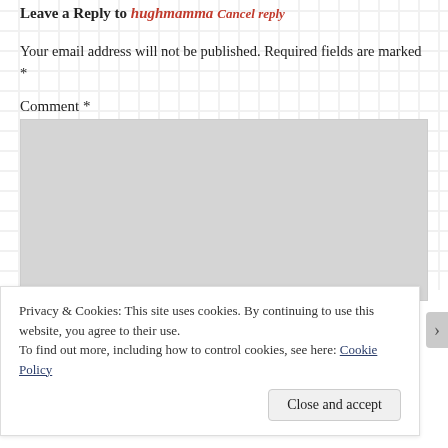Leave a Reply to hughmamma Cancel reply
Your email address will not be published. Required fields are marked *
Comment *
[Figure (other): Large grey comment text area input box]
Privacy & Cookies: This site uses cookies. By continuing to use this website, you agree to their use.
To find out more, including how to control cookies, see here: Cookie Policy
Close and accept